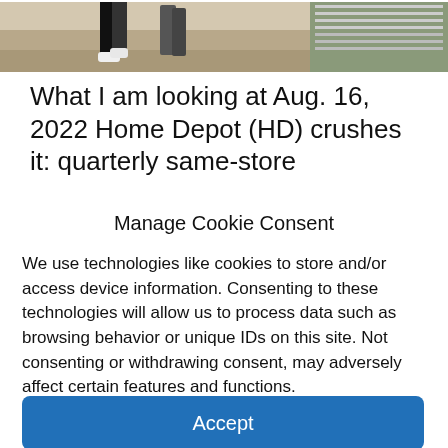[Figure (photo): Cropped photo of people walking on a street near a store, visible legs and sidewalk with retail shelving in background]
What I am looking at Aug. 16, 2022 Home Depot (HD) crushes it: quarterly same-store
Manage Cookie Consent
We use technologies like cookies to store and/or access device information. Consenting to these technologies will allow us to process data such as browsing behavior or unique IDs on this site. Not consenting or withdrawing consent, may adversely affect certain features and functions.
Accept
Cookie Policy